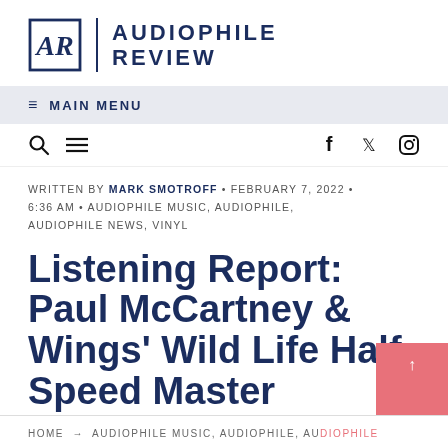[Figure (logo): Audiophile Review logo with AR monogram in a square border, vertical divider, and AUDIOPHILE REVIEW text in navy uppercase letters]
≡  MAIN MENU
🔍  ≡   f  𝕏  ⊙
WRITTEN BY MARK SMOTROFF • FEBRUARY 7, 2022 • 6:36 AM • AUDIOPHILE MUSIC, AUDIOPHILE, AUDIOPHILE NEWS, VINYL
Listening Report: Paul McCartney & Wings' Wild Life Half-Speed Master
HOME → AUDIOPHILE MUSIC, AUDIOPHILE, AU...